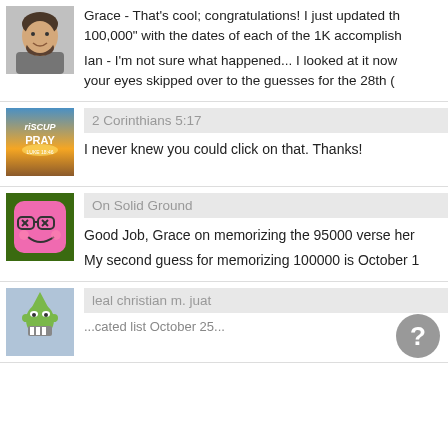[Figure (photo): Profile photo of a bearded man]
Grace - That's cool; congratulations! I just updated th... 100,000" with the dates of each of the 1K accomplish...
Ian - I'm not sure what happened... I looked at it now... your eyes skipped over to the guesses for the 28th (...
[Figure (illustration): Rise Up and Pray inspirational image with sunrise background]
2 Corinthians 5:17
I never knew you could click on that. Thanks!
[Figure (illustration): Green bordered pink square cartoon face with glasses]
On Solid Ground
Good Job, Grace on memorizing the 95000 verse her...
My second guess for memorizing 100000 is October 1...
[Figure (illustration): Green alien/robot cartoon avatar]
leal christian m. juat